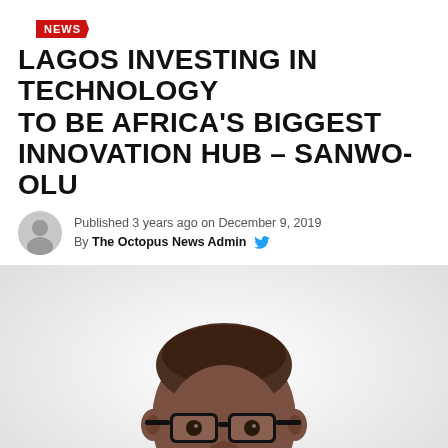NEWS
LAGOS INVESTING IN TECHNOLOGY TO BE AFRICA'S BIGGEST INNOVATION HUB – SANWO-OLU
Published 3 years ago on December 9, 2019
By The Octopus News Admin
[Figure (photo): Headshot photo of Sanwo-Olu, a man wearing black-rimmed glasses and white shirt, against a light background]